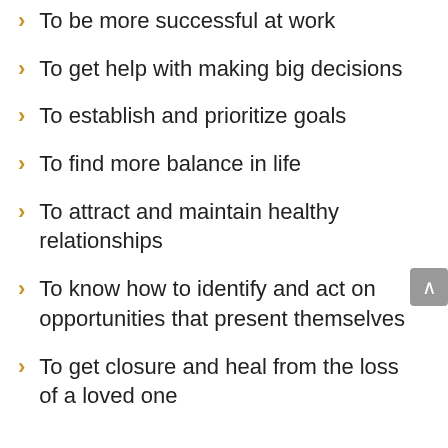To be more successful at work
To get help with making big decisions
To establish and prioritize goals
To find more balance in life
To attract and maintain healthy relationships
To know how to identify and act on opportunities that present themselves
To get closure and heal from the loss of a loved one